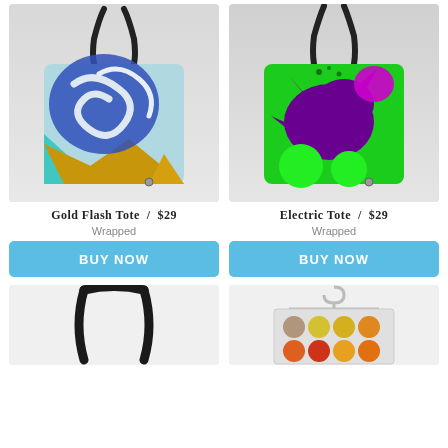[Figure (photo): Gold Flash Tote bag with colorful abstract art print featuring blue, teal, gold/orange and white swirling shapes with a black strap]
[Figure (photo): Electric Tote bag with vivid green background and purple/dark paint splash with bright green circles and a black strap]
Gold Flash Tote  /  $29
Wrapped
Electric Tote  /  $29
Wrapped
BUY NOW
BUY NOW
[Figure (photo): Partial view of another tote bag showing only the black strap against white background, bottom of page]
[Figure (photo): Shower caddy or organizer hanging from a silver hook/hanger, containing colorful cylindrical tubes/paint containers in yellow, orange, red, tan colors, bottom of page]